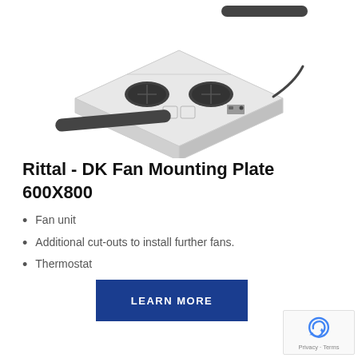[Figure (photo): Product photo of Rittal DK Fan Mounting Plate 600X800, showing a white metal plate with two fans installed, additional cutout positions, sealing strips, and a cable.]
Rittal - DK Fan Mounting Plate 600X800
Fan unit
Additional cut-outs to install further fans.
Thermostat
LEARN MORE